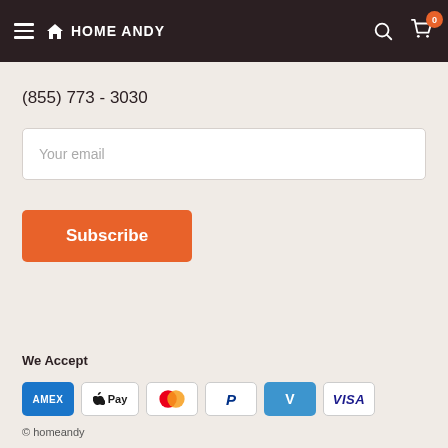HOMEANDY — navigation header with hamburger menu, search icon, cart icon with badge 0
(855) 773 - 3030
Your email
Subscribe
We Accept
[Figure (logo): Payment method icons: AMEX, Apple Pay, Mastercard, PayPal, Venmo, Visa]
© homeandy